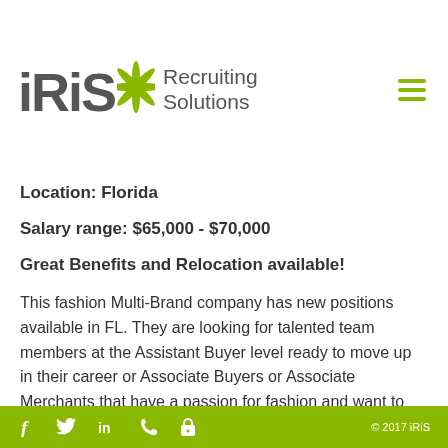[Figure (logo): iRiS Recruiting Solutions logo with green leaf/sunburst icon and hamburger menu icon]
Location: Florida
Salary range: $65,000 - $70,000
Great Benefits and Relocation available!
This fashion Multi-Brand company has new positions available in FL. They are looking for talented team members at the Assistant Buyer level ready to move up in their career or Associate Buyers or Associate Merchants that have a passion for fashion and want to fast track their career to Merchant. These positions will own one or more categories of business and will help train Assistant Buyers.
f  t  in  phone  lock  © 2017 iRiS